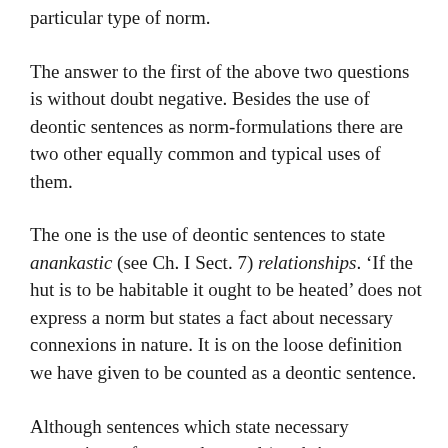particular type of norm.
The answer to the first of the above two questions is without doubt negative. Besides the use of deontic sentences as norm-formulations there are two other equally common and typical uses of them.
The one is the use of deontic sentences to state anankastic (see Ch. I Sect. 7) relationships. ‘If the hut is to be habitable it ought to be heated’ does not express a norm but states a fact about necessary connexions in nature. It is on the loose definition we have given to be counted as a deontic sentence.
Although sentences which state necessary connexions often use the word ‘ought’ to express the necessity they can also be formulated using the word ‘must’. For example: ‘If the hut is to be habitable it must be